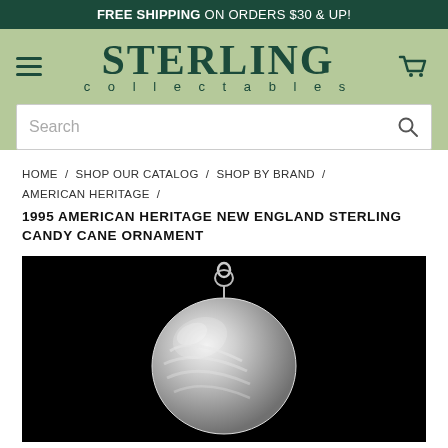FREE SHIPPING ON ORDERS $30 & UP!
[Figure (logo): Sterling Collectables logo with hamburger menu and cart icon on sage green background, with search bar below]
HOME / SHOP OUR CATALOG / SHOP BY BRAND / AMERICAN HERITAGE /
1995 AMERICAN HERITAGE NEW ENGLAND STERLING CANDY CANE ORNAMENT
[Figure (photo): Silver candy cane ornament on black background, showing a shiny metallic ornament with hook/bail at top]